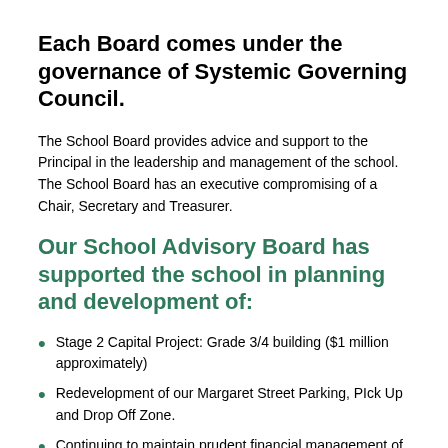Each Board comes under the governance of Systemic Governing Council.
The School Board provides advice and support to the Principal in the leadership and management of the school. The School Board has an executive compromising of a Chair, Secretary and Treasurer.
Our School Advisory Board has supported the school in planning and development of:
Stage 2 Capital Project: Grade 3/4 building ($1 million approximately)
Redevelopment of our Margaret Street Parking, PIck Up and Drop Off Zone.
Continuing to maintain prudent financial management of our school
Memorandum of Understanding between the School, Parish